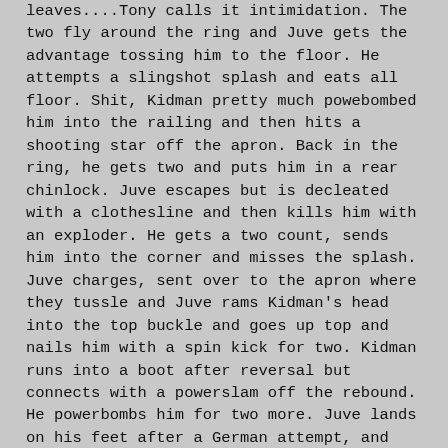leaves....Tony calls it intimidation. The two fly around the ring and Juve gets the advantage tossing him to the floor. He attempts a slingshot splash and eats all floor. Shit, Kidman pretty much powebombed him into the railing and then hits a shooting star off the apron. Back in the ring, he gets two and puts him in a rear chinlock. Juve escapes but is decleated with a clothesline and then kills him with an exploder. He gets a two count, sends him into the corner and misses the splash. Juve charges, sent over to the apron where they tussle and Juve rams Kidman's head into the top buckle and goes up top and nails him with a spin kick for two. Kidman runs into a boot after reversal but connects with a powerslam off the rebound. He powerbombs him for two more. Juve lands on his feet after a German attempt, and Juve hits the Driver and the 450 for the win.
**** Great. Will Kidman get a win?
Tony calls out Luger and asks about DDP. Lex mentions that the nWo left because they knew the Wolfpac was in the house. They were worried about dealing with him face to face as they like to attack from behind. The door is still open for DDP to join. Macho and him are challenging Giant and Disciple.
EB is with Bret, and the former calls Lex a loser, well close to one. EB is all over the place and not making sense. Bret wants Benoit, a fellow